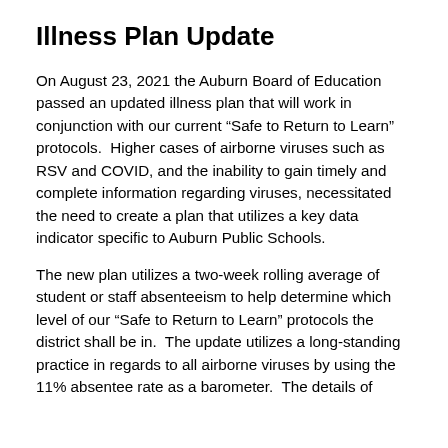Illness Plan Update
On August 23, 2021 the Auburn Board of Education passed an updated illness plan that will work in conjunction with our current “Safe to Return to Learn” protocols.  Higher cases of airborne viruses such as RSV and COVID, and the inability to gain timely and complete information regarding viruses, necessitated the need to create a plan that utilizes a key data indicator specific to Auburn Public Schools.
The new plan utilizes a two-week rolling average of student or staff absenteeism to help determine which level of our “Safe to Return to Learn” protocols the district shall be in.  The update utilizes a long-standing practice in regards to all airborne viruses by using the 11% absentee rate as a barometer.  The details of